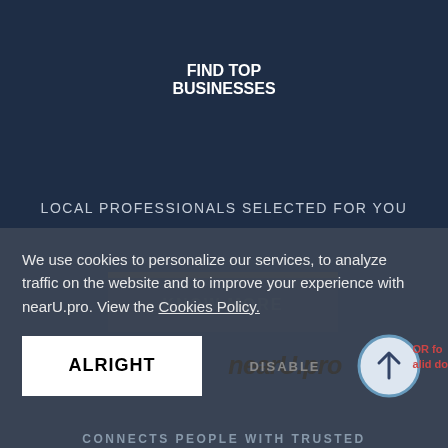FIND TOP BUSINESSES
LOCAL PROFESSIONALS SELECTED FOR YOU
KNOW MORE
We use cookies to personalize our services, to analyze traffic on the website and to improve your experience with nearU.pro. View the Cookies Policy.
ALRIGHT
[Figure (logo): nearU.pro logo with DISABLE overlay text and up-arrow circle button]
CONNECTS PEOPLE WITH TRUSTED